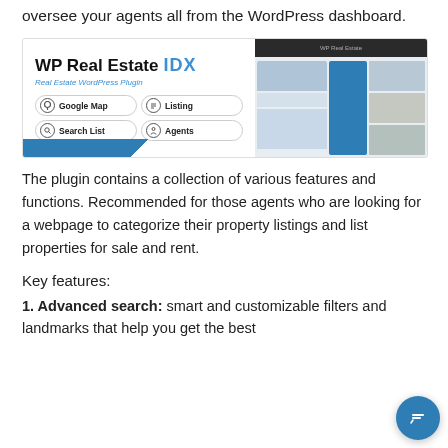allows you to submit inquiries, listings, and oversee your agents all from the WordPress dashboard.
[Figure (screenshot): WP Real Estate IDX - Real Estate WordPress Plugin screenshot showing logo with Google Map, Listing, Search List, and Agents icons, alongside website interface screenshots]
The plugin contains a collection of various features and functions. Recommended for those agents who are looking for a webpage to categorize their property listings and list properties for sale and rent.
Key features:
1. Advanced search: smart and customizable filters and landmarks that help you get the best